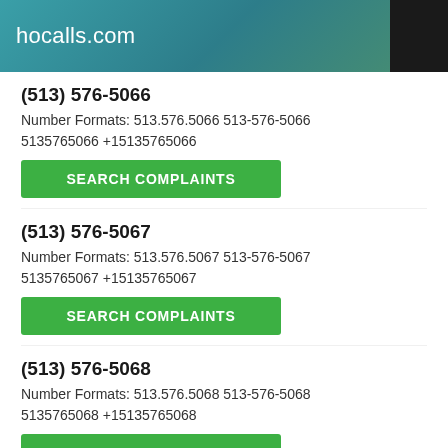hocalls.com
(513) 576-5066
Number Formats: 513.576.5066 513-576-5066 5135765066 +15135765066
SEARCH COMPLAINTS
(513) 576-5067
Number Formats: 513.576.5067 513-576-5067 5135765067 +15135765067
SEARCH COMPLAINTS
(513) 576-5068
Number Formats: 513.576.5068 513-576-5068 5135765068 +15135765068
SEARCH COMPLAINTS